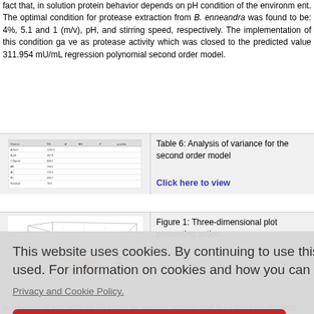fact that, in solution protein behavior depends on pH condition of the environment. The optimal condition for protease extraction from B. enneandra was found to be: 4%, 5.1 and 1 (m/v), pH, and stirring speed, respectively. The implementation of this condition gave as protease activity which was closed to the predicted value 311.954 mU/mL regression polynomial second order model.
[Figure (table-as-image): Thumbnail of Table 6: analysis of variance table]
Table 6: Analysis of variance for the second order model
Click here to view
[Figure (other): Three-dimensional surface plot thumbnail]
Figure 1: Three-dimensional plot presenting action
This website uses cookies. By continuing to use this website you are giving consent to cookies being used. For information on cookies and how you can disable them visit our
Privacy and Cookie Policy.
AGREE & PROCEED
ree steps p... onium sulfa... ned maxim... saturation of salt with 10.69 U/mg as specific activity and 3.12 folds purification